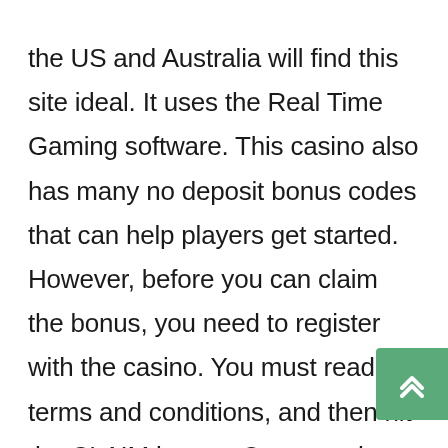the US and Australia will find this site ideal. It uses the Real Time Gaming software. This casino also has many no deposit bonus codes that can help players get started. However, before you can claim the bonus, you need to register with the casino. You must read the terms and conditions, and then hit the CLAIM button. Once you have registered with the casino, you can use the two up casino no deposit bonus codes to access the bonus.